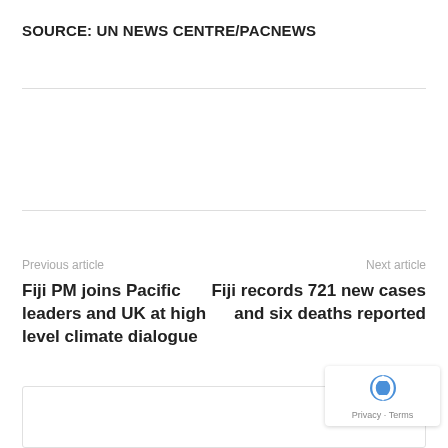SOURCE: UN NEWS CENTRE/PACNEWS
Previous article
Next article
Fiji PM joins Pacific leaders and UK at high level climate dialogue
Fiji records 721 new cases and six deaths reported